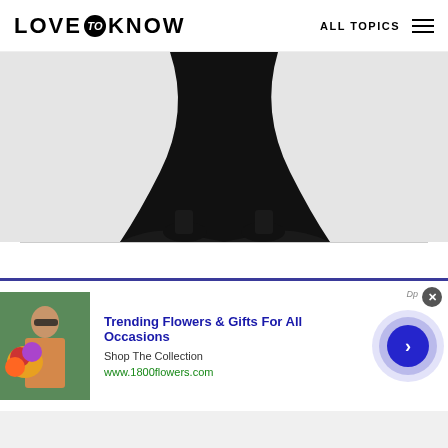LOVE to KNOW  ALL TOPICS
[Figure (photo): Lower half of a model wearing a long black maxi dress with black heeled shoes, photographed against a light gray background]
[Figure (photo): Advertisement banner: 1800flowers.com - Trending Flowers & Gifts For All Occasions. Shows a woman holding colorful flowers. Shop The Collection. www.1800flowers.com]